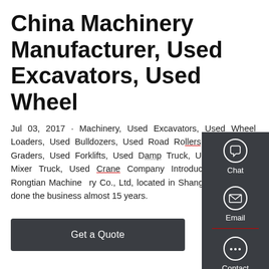China Machinery Manufacturer, Used Excavators, Used Wheel
Jul 03, 2017 · Machinery, Used Excavators, Used Wheel Loaders, Used Bulldozers, Used Road Rollers, Used Motor Graders, Used Forklifts, Used Dump Truck, Used Concrete Mixer Truck, Used Crane Company Introduction We are Rongtian Machinery Co., Ltd, located in Shanghai, We have done the business almost 15 years.
[Figure (other): Side panel with Chat, Email, and Contact icons on dark grey background]
Get a Quote